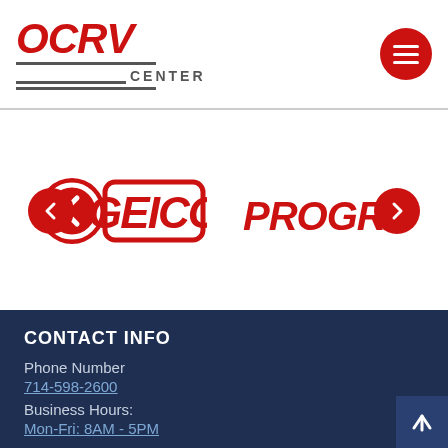[Figure (logo): OC RV Center logo with red stylized letters and CENTER text below with horizontal lines]
[Figure (logo): GEICO and Progressive insurance logos shown in a carousel slider with red arrow navigation buttons]
CONTACT INFO
Phone Number
714-598-2600
Business Hours:
Mon-Fri: 8AM - 5PM